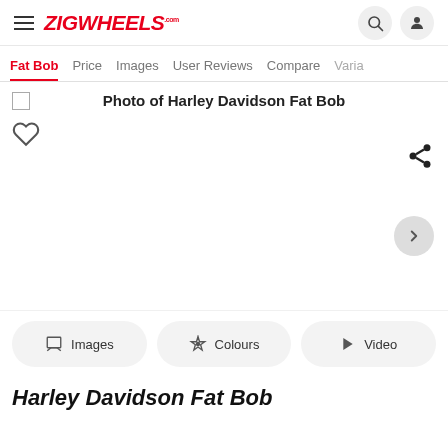ZIGWHEELS.com
Fat Bob | Price | Images | User Reviews | Compare | Varian
Photo of Harley Davidson Fat Bob
[Figure (screenshot): Empty white photo viewer area with heart icon, share icon, and right navigation arrow on a light grey circular button]
Images | Colours | Video
Harley Davidson Fat Bob